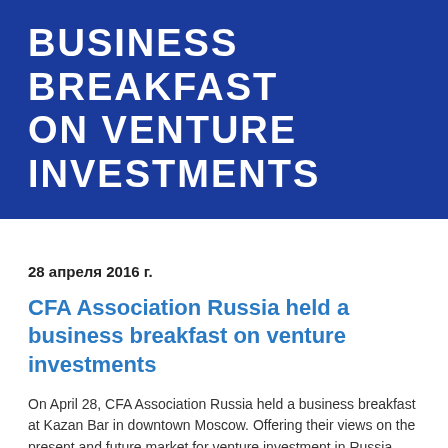BUSINESS BREAKFAST ON VENTURE INVESTMENTS
28 апреля 2016 г.
CFA Association Russia held a business breakfast on venture investments
On April 28, CFA Association Russia held a business breakfast at Kazan Bar in downtown Moscow. Offering their views on the present and future market for venture investment in Russia were Oskar Hartmann, founder of KupiVip, Fast Lane venture fund and main investor in CarPrice, and Pavel Bogdanov, general partner in Almaz Capital.